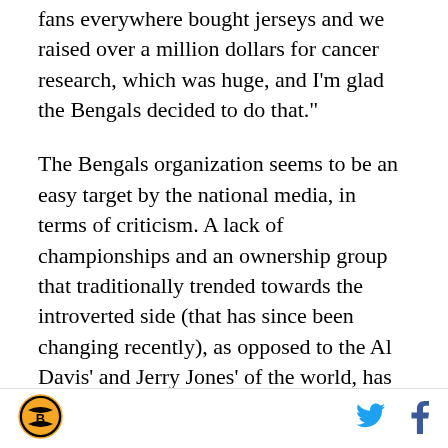fans everywhere bought jerseys and we raised over a million dollars for cancer research, which was huge, and I'm glad the Bengals decided to do that."
The Bengals organization seems to be an easy target by the national media, in terms of criticism. A lack of championships and an ownership group that traditionally trended towards the introverted side (that has since been changing recently), as opposed to the Al Davis' and Jerry Jones' of the world, has teed the club up for punchlines.
Lost in that are stories like these where the Bengals create a great cause and don't ask for any personal kudos. I suppose it's just not as fun to laud this
[Figure (logo): Cincinnati Bengals circular logo]
[Figure (logo): Twitter bird icon in blue]
[Figure (logo): Facebook f icon in dark blue]